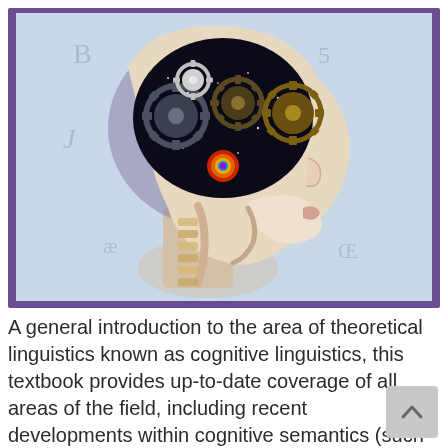[Figure (illustration): An illustrated cross-section of a human head in profile showing the brain filled with gears/cogs against a dark starry background, and the vocal/throat anatomy visible below. Phonetic characters are visible in the light-blue background. The image is framed with a dark purple border.]
A general introduction to the area of theoretical linguistics known as cognitive linguistics, this textbook provides up-to-date coverage of all areas of the field, including recent developments within cognitive semantics (such as Primary Metaphor Theory, Conceptual Blending Theory, and